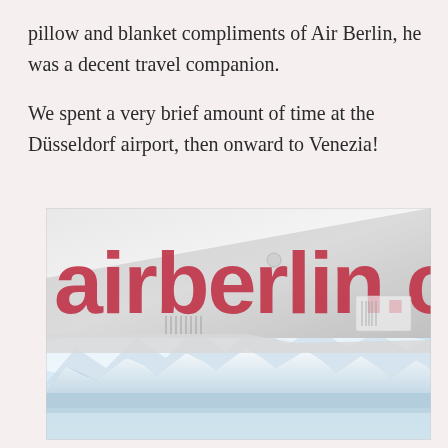pillow and blanket compliments of Air Berlin, he was a decent travel companion.

We spent a very brief amount of time at the Düsseldorf airport, then onward to Venezia!
[Figure (photo): Photo taken from an airplane window showing the Air Berlin aircraft fuselage with 'airberlin.c' logo visible in large red letters, and below the wing are snow-capped mountains (likely the Alps) visible through clouds from high altitude.]